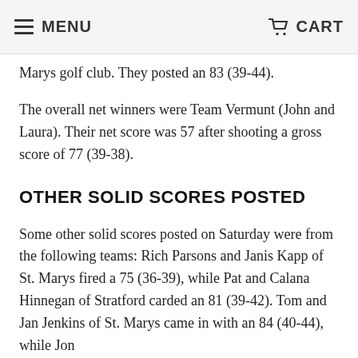MENU  CART
Marys golf club. They posted an 83 (39-44).
The overall net winners were Team Vermunt (John and Laura). Their net score was 57 after shooting a gross score of 77 (39-38).
OTHER SOLID SCORES POSTED
Some other solid scores posted on Saturday were from the following teams: Rich Parsons and Janis Kapp of St. Marys fired a 75 (36-39), while Pat and Calana Hinnegan of Stratford carded an 81 (39-42). Tom and Jan Jenkins of St. Marys came in with an 84 (40-44), while Jon